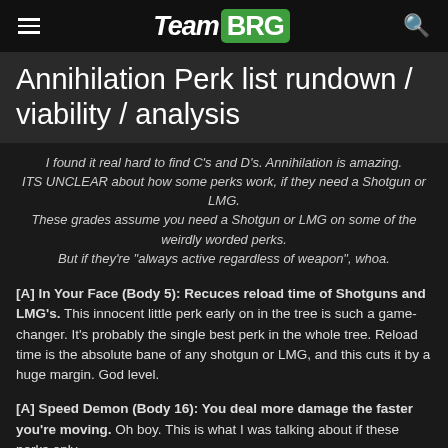Team BRG
Annihilation Perk list rundown / viability / analysis
I found it real hard to find C's and D's. Annihilation is amazing. ITS UNCLEAR about how some perks work, if they need a Shotgun or LMG. These grades assume you need a Shotgun or LMG on some of the weirdly worded perks. But if they’re “always active regardless of weapon”, whoa.
[A] In Your Face (Body 5): Recuces reload time of Shotguns and LMG’s. This innocent little perk early on in the tree is such a game-changer. It’s probably the single best perk in the whole tree. Reload time is the absolute bane of any shotgun or LMG, and this cuts it by a huge margin. God level.
[A] Speed Demon (Body 16): You deal more damage the faster you’re moving. Oh boy. This is what I was talking about if these perks only